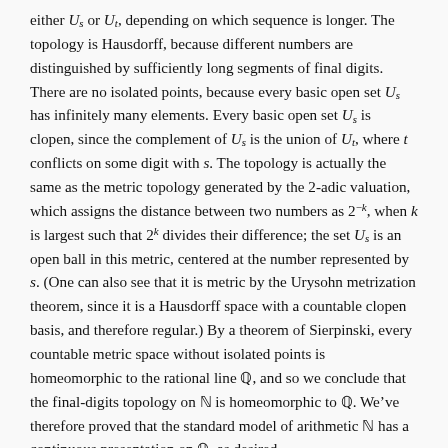either U_s or U_t, depending on which sequence is longer. The topology is Hausdorff, because different numbers are distinguished by sufficiently long segments of final digits. There are no isolated points, because every basic open set U_s has infinitely many elements. Every basic open set U_s is clopen, since the complement of U_s is the union of U_t, where t conflicts on some digit with s. The topology is actually the same as the metric topology generated by the 2-adic valuation, which assigns the distance between two numbers as 2^{-k}, when k is largest such that 2^k divides their difference; the set U_s is an open ball in this metric, centered at the number represented by s. (One can also see that it is metric by the Urysohn metrization theorem, since it is a Hausdorff space with a countable clopen basis, and therefore regular.) By a theorem of Sierpinski, every countable metric space without isolated points is homeomorphic to the rational line Q, and so we conclude that the final-digits topology on N is homeomorphic to Q. We've therefore proved that the standard model of arithmetic N has a continuous presentation on Q, as desired.